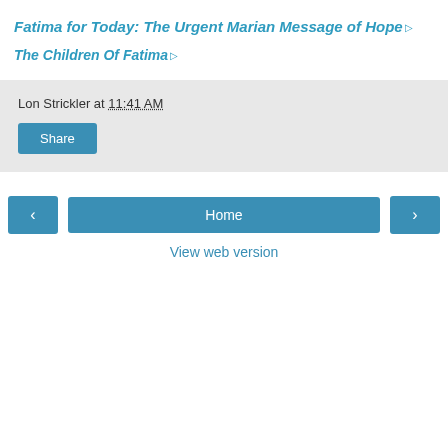Fatima for Today: The Urgent Marian Message of Hope
The Children Of Fatima
Lon Strickler at 11:41 AM
Share
< Home >
View web version